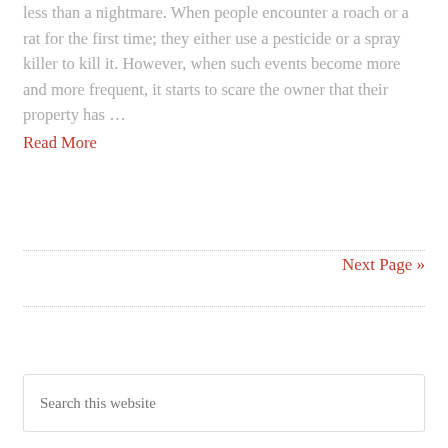less than a nightmare. When people encounter a roach or a rat for the first time; they either use a pesticide or a spray killer to kill it. However, when such events become more and more frequent, it starts to scare the owner that their property has … Read More
Next Page »
Search this website